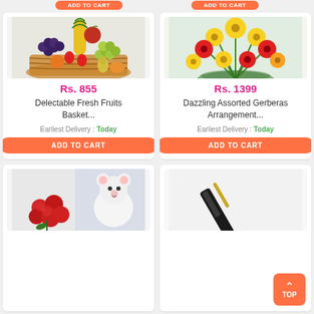[Figure (photo): Fruit basket product photo with price Rs. 855]
[Figure (photo): Gerbera flower arrangement product photo with price Rs. 1399]
[Figure (photo): Roses and teddy bear product photo (partially visible)]
[Figure (photo): Pen/gift product photo (partially visible) with TOP button overlay]